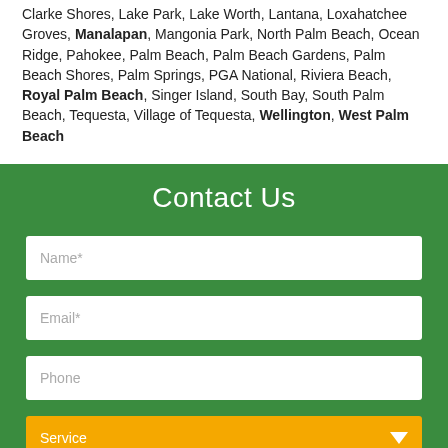Clarke Shores, Lake Park, Lake Worth, Lantana, Loxahatchee Groves, Manalapan, Mangonia Park, North Palm Beach, Ocean Ridge, Pahokee, Palm Beach, Palm Beach Gardens, Palm Beach Shores, Palm Springs, PGA National, Riviera Beach, Royal Palm Beach, Singer Island, South Bay, South Palm Beach, Tequesta, Village of Tequesta, Wellington, West Palm Beach
Contact Us